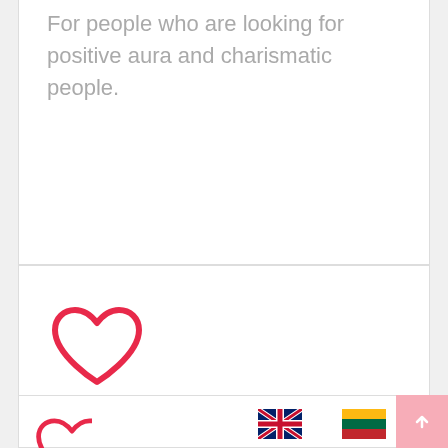For people who are looking for positive aura and charismatic people.
[Figure (illustration): Red outline heart icon]
Feels like home
When work is a life, and life is a work, you need a place that “gets you”.
[Figure (illustration): UK flag icon]
[Figure (illustration): Lithuanian flag icon]
[Figure (illustration): Partial red heart icon at bottom]